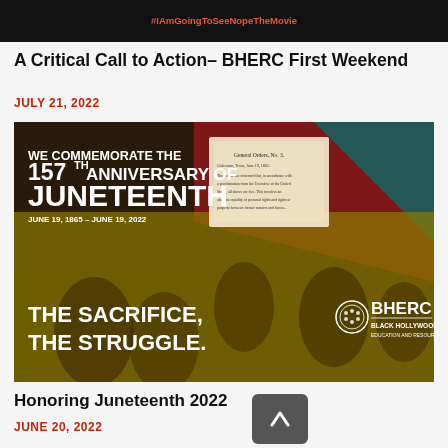#IAmGoingToSeeNopeTheMovie
A Critical Call to Action– BHERC First Weekend
JULY 21, 2022
[Figure (infographic): Juneteenth 157th Anniversary commemorative image with text 'WE COMMEMORATE THE 157TH ANNIVERSARY OF JUNETEENTH JUNE 19, 1865 – JUNE 19, 2022 THE SACRIFICE, THE STRUGGLE.' with BHERC Black Hollywood Education and Resource Center logo, historical photo of Black Americans with red, gold, and teal color overlay]
Honoring Juneteenth 2022
JUNE 20, 2022